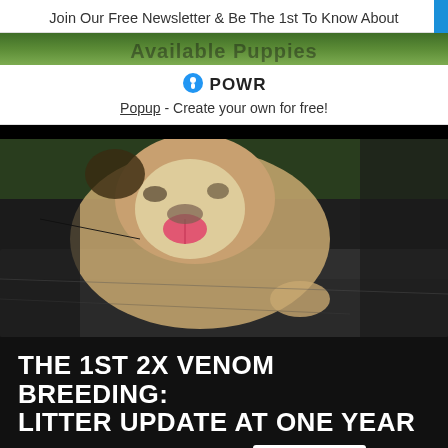Join Our Free Newsletter & Be The 1st To Know About
[Figure (screenshot): POWR popup widget banner showing logo and 'Popup - Create your own for free!' text]
[Figure (photo): Close-up photo of a bulldog puppy with tongue out, resting on a rock or ledge, with a person visible in background]
THE 1ST 2X VENOM BREEDING: LITTER UPDATE AT ONE YEAR
By Texas Size Bullies • 19/09/19